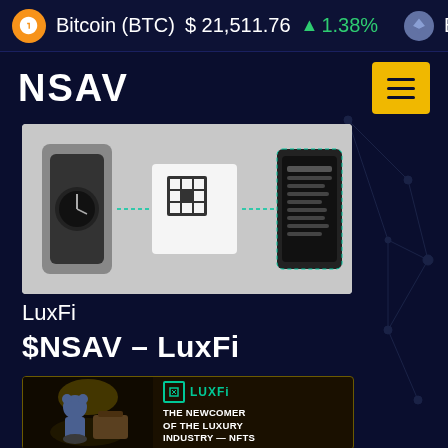Bitcoin (BTC)  $ 21,511.76  ↑ 1.38%  Eth
NSAV
[Figure (illustration): Screenshot of luxury watch connected to QR code and digital certificate/app interface, showing LuxFi blockchain authentication concept]
LuxFi
$NSAV – LuxFi
[Figure (illustration): LuxFi advertisement showing luxury items (bear figurine, handbag, watch) with text: LuxFi – THE NEWCOMER OF THE LUXURY INDUSTRY — NFTS]